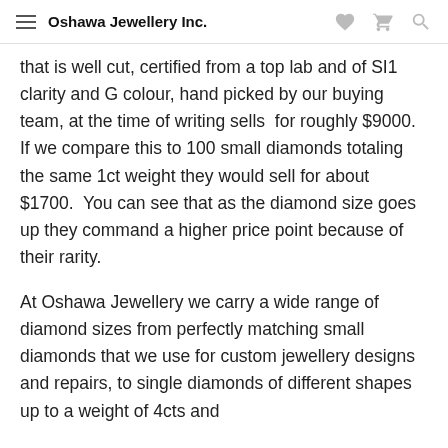Oshawa Jewellery Inc.
that is well cut, certified from a top lab and of SI1 clarity and G colour, hand picked by our buying team, at the time of writing sells for roughly $9000.  If we compare this to 100 small diamonds totaling the same 1ct weight they would sell for about $1700.  You can see that as the diamond size goes up they command a higher price point because of their rarity.
At Oshawa Jewellery we carry a wide range of diamond sizes from perfectly matching small diamonds that we use for custom jewellery designs and repairs, to single diamonds of different shapes up to a weight of 4cts and